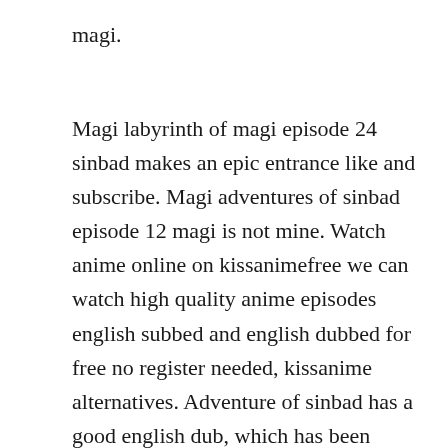magi.
Magi labyrinth of magi episode 24 sinbad makes an epic entrance like and subscribe. Magi adventures of sinbad episode 12 magi is not mine. Watch anime online on kissanimefree we can watch high quality anime episodes english subbed and english dubbed for free no register needed, kissanime alternatives. Adventure of sinbad has a good english dub, which has been praised by many viewers. In the immediate future, a giant meteorite has collided with earth. My hero